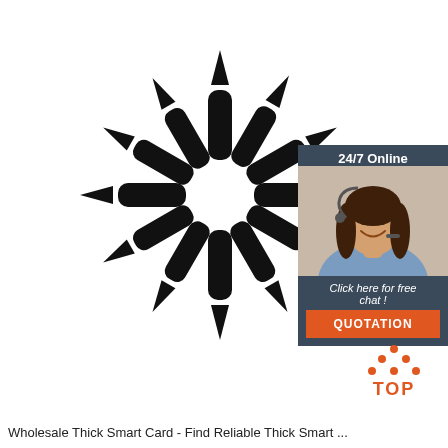[Figure (photo): Product photo: 12 black stylus pen tips/nibs arranged in a circular starburst pattern on white background]
[Figure (infographic): 24/7 Online chat support box with smiling woman wearing headset, 'Click here for free chat!' text, and orange QUOTATION button]
[Figure (logo): TOP logo with orange triangle/dots above the word TOP in orange]
Wholesale Thick Smart Card - Find Reliable Thick Smart ...